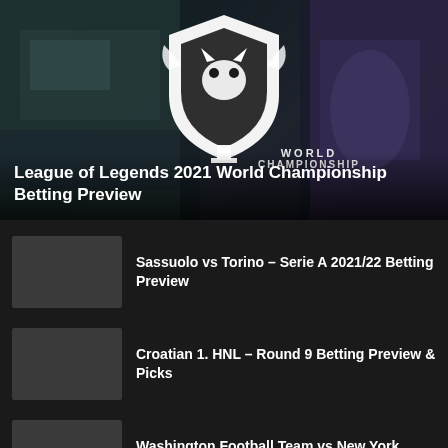[Figure (screenshot): League of Legends 2021 World Championship promotional image with shield logo and trophy in the background]
League of Legends 2021 World Championship Betting Preview
[Figure (photo): Sassuolo vs Torino article thumbnail]
Sassuolo vs Torino – Serie A 2021/22 Betting Preview
[Figure (photo): Croatian 1. HNL article thumbnail]
Croatian 1. HNL – Round 9 Betting Preview & Picks
[Figure (photo): Washington Football Team vs New York Giants article thumbnail]
Washington Football Team vs New York Giants – NFL 2021 Week 2 Betting Preview